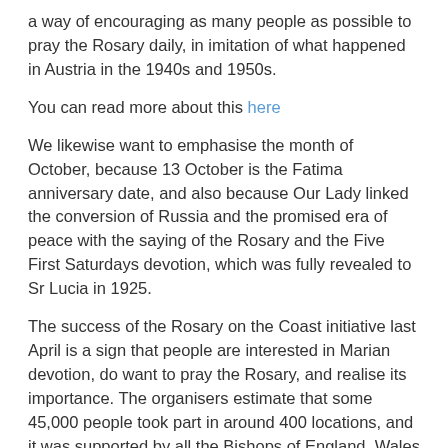a way of encouraging as many people as possible to pray the Rosary daily, in imitation of what happened in Austria in the 1940s and 1950s.
You can read more about this here
We likewise want to emphasise the month of October, because 13 October is the Fatima anniversary date, and also because Our Lady linked the conversion of Russia and the promised era of peace with the saying of the Rosary and the Five First Saturdays devotion, which was fully revealed to Sr Lucia in 1925.
The success of the Rosary on the Coast initiative last April is a sign that people are interested in Marian devotion, do want to pray the Rosary, and realise its importance. The organisers estimate that some 45,000 people took part in around 400 locations, and it was supported by all the Bishops of England, Wales and Scotland.
And likewise, The Dowry of Mary Pilgrimage, from 2018 to 2020, when there will be visitations to the cathedrals of England of the statue of Our Lady of Walsingham, is